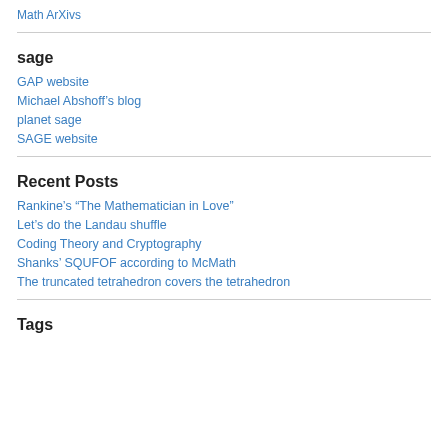Math ArXivs
sage
GAP website
Michael Abshoff's blog
planet sage
SAGE website
Recent Posts
Rankine’s “The Mathematician in Love”
Let's do the Landau shuffle
Coding Theory and Cryptography
Shanks’ SQUFOF according to McMath
The truncated tetrahedron covers the tetrahedron
Tags